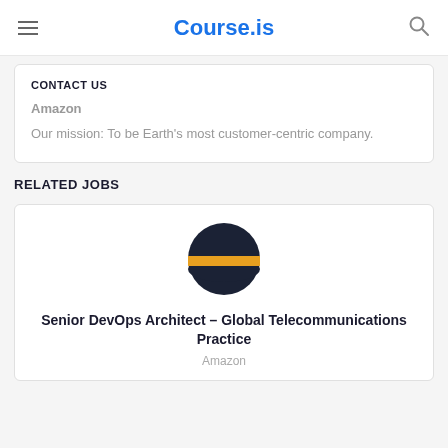Course.is
CONTACT US
Amazon
Our mission: To be Earth's most customer-centric company.
RELATED JOBS
[Figure (logo): Dark navy circle with orange horizontal band across the middle — company logo]
Senior DevOps Architect – Global Telecommunications Practice
Amazon